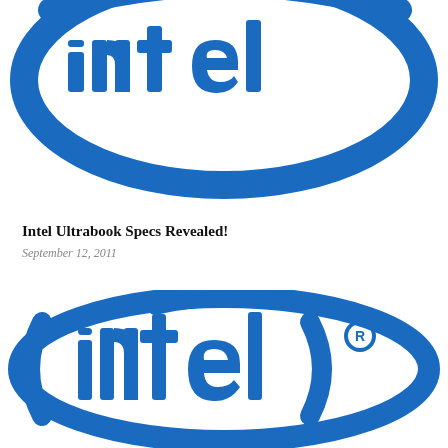[Figure (logo): Intel logo (partial, cropped) — blue circular swoosh with 'intel' lettering, top portion only visible]
Intel Ultrabook Specs Revealed!
September 12, 2011
[Figure (logo): Intel logo — full blue oval swoosh with '(intel)' lettering in blue and registered trademark symbol]